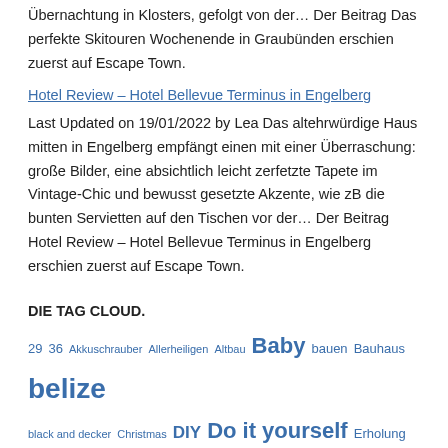Übernachtung in Klosters, gefolgt von der… Der Beitrag Das perfekte Skitouren Wochenende in Graubünden erschien zuerst auf Escape Town.
Hotel Review – Hotel Bellevue Terminus in Engelberg (link)
Last Updated on 19/01/2022 by Lea Das altehrwürdige Haus mitten in Engelberg empfängt einen mit einer Überraschung: große Bilder, eine absichtlich leicht zerfetzte Tapete im Vintage-Chic und bewusst gesetzte Akzente, wie zB die bunten Servietten auf den Tischen vor der… Der Beitrag Hotel Review – Hotel Bellevue Terminus in Engelberg erschien zuerst auf Escape Town.
DIE TAG CLOUD.
29 36 Akkuschrauber Allerheiligen Altbau Baby bauen Bauhaus belize black and decker Christmas DIY Do it yourself Erholung Fichte Generation girlstrip HIMYM Hochbett home improvement How I Met Your Mother Jason Segel Kilo Kinder Krise Lainzer Tiergarten Lebenskrise Liebe Natur Nicht Prater Platz sparen Praktikum Sauerstoff Sauerstoff Tourismus